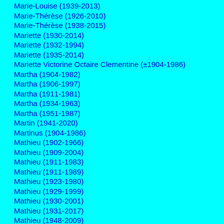Marie-Louise (1939-2013)
Marie-Thérèse (1926-2010)
Marie-Thérèse (1938-2015)
Mariette (1930-2014)
Mariette (1932-1994)
Mariette (1935-2014)
Mariette Victorine Octaire Clementine (±1904-1986)
Martha (1904-1982)
Martha (1906-1997)
Martha (1911-1981)
Martha (1934-1963)
Martha (1951-1987)
Martin (1941-2020)
Martinus (1904-1986)
Mathieu (1902-1966)
Mathieu (1909-2004)
Mathieu (1911-1983)
Mathieu (1911-1989)
Mathieu (1923-1980)
Mathieu (1929-1999)
Mathieu (1930-2001)
Mathieu (1931-2017)
Mathieu (1948-2009)
Mathijs (1915-1981)
Mathilde (-±2004)
Mathilde (1875-1964)
Mathilde (1895-1983)
Mathilde (1909-1994)